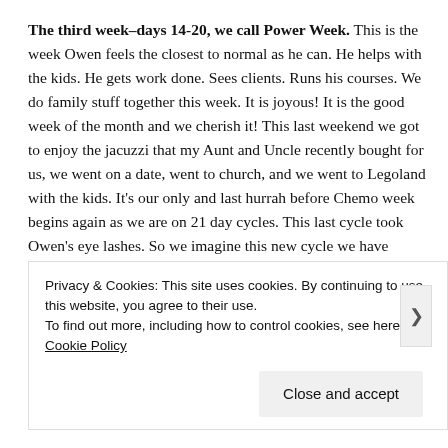The third week–days 14-20, we call Power Week. This is the week Owen feels the closest to normal as he can. He helps with the kids. He gets work done. Sees clients. Runs his courses. We do family stuff together this week. It is joyous! It is the good week of the month and we cherish it! This last weekend we got to enjoy the jacuzzi that my Aunt and Uncle recently bought for us, we went on a date, went to church, and we went to Legoland with the kids. It's our only and last hurrah before Chemo week begins again as we are on 21 day cycles. This last cycle took Owen's eye lashes. So we imagine this new cycle we have begun this week will take his eye brows. He does his best to manage his baldness with a hat and we are so...
Privacy & Cookies: This site uses cookies. By continuing to use this website, you agree to their use. To find out more, including how to control cookies, see here: Cookie Policy
Close and accept